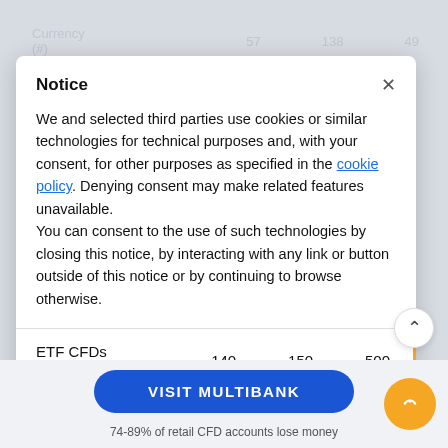Currency (#)   57   138   49
Notice
We and selected third parties use cookies or similar technologies for technical purposes and, with your consent, for other purposes as specified in the cookie policy. Denying consent may make related features unavailable.
You can consent to the use of such technologies by closing this notice, by interacting with any link or button outside of this notice or by continuing to browse otherwise.
|  |  |  |  |
| --- | --- | --- | --- |
| ETF CFDs (#) | 140 | 150 | 500 |
| Commodity CFDs (#) | 21 | 48 | 22 |
VISIT MULTIBANK
74-89% of retail CFD accounts lose money